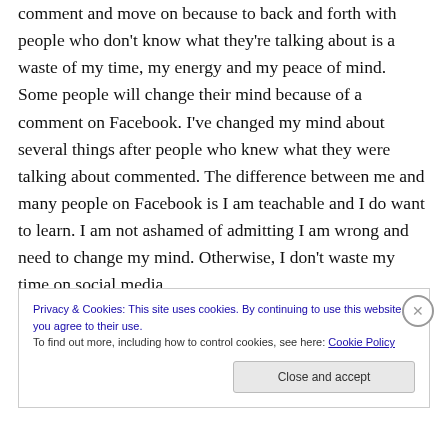comment and move on because to back and forth with people who don't know what they're talking about is a waste of my time, my energy and my peace of mind. Some people will change their mind because of a comment on Facebook. I've changed my mind about several things after people who knew what they were talking about commented. The difference between me and many people on Facebook is I am teachable and I do want to learn. I am not ashamed of admitting I am wrong and need to change my mind. Otherwise, I don't waste my time on social media.
Privacy & Cookies: This site uses cookies. By continuing to use this website, you agree to their use. To find out more, including how to control cookies, see here: Cookie Policy
Close and accept